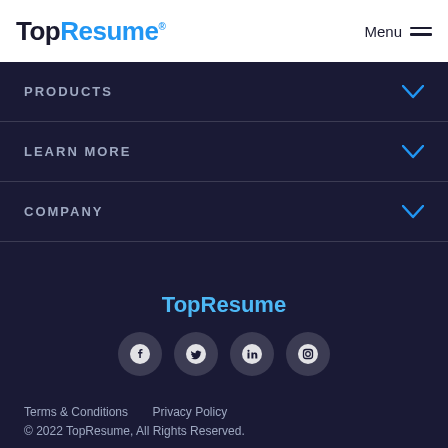TopResume® Menu
PRODUCTS
LEARN MORE
COMPANY
[Figure (logo): TopResume logo centered in footer area]
[Figure (infographic): Social media icons: Facebook, Twitter, LinkedIn, Instagram]
Terms & Conditions   Privacy Policy
© 2022 TopResume, All Rights Reserved.